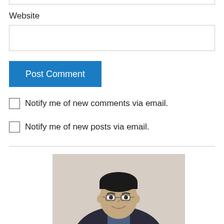Website
[Figure (photo): Portrait photo of a young Asian man wearing glasses and a dark suit, smiling, with a light beige background]
Notify me of new comments via email.
Notify me of new posts via email.